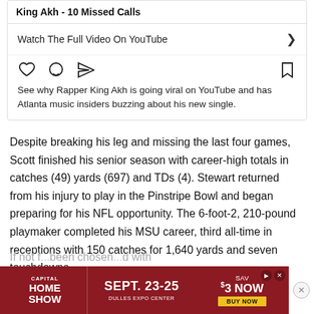King Akh - 10 Missed Calls
Watch The Full Video On YouTube
[Figure (screenshot): Social media card icons: heart, comment bubble, share/send arrow, bookmark]
See why Rapper King Akh is going viral on YouTube and has Atlanta music insiders buzzing about his new single.
Despite breaking his leg and missing the last four games, Scott finished his senior season with career-high totals in catches (49) yards (697) and TDs (4). Stewart returned from his injury to play in the Pinstripe Bowl and began preparing for his NFL opportunity. The 6-foot-2, 210-pound playmaker completed his MSU career, third all-time in receptions with 150 catches for 1,640 yards and seven touchdowns.
If not f... been chosen... d with
[Figure (screenshot): Advertisement banner: Capital Home Show, Sept. 23-25, Dulles Expo Center, Save $3 Now, Buy Now button]